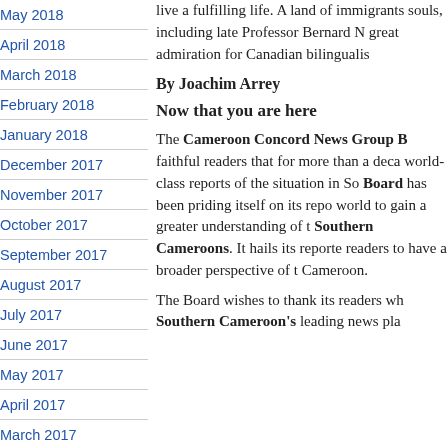May 2018
April 2018
March 2018
February 2018
January 2018
December 2017
November 2017
October 2017
September 2017
August 2017
July 2017
June 2017
May 2017
April 2017
March 2017
live a fulfilling life. A land of immigrants souls, including late Professor Bernard N... great admiration for Canadian bilingualis...
By Joachim Arrey
Now that you are here
The Cameroon Concord News Group Board faithful readers that for more than a decade world-class reports of the situation in Southern Cameroons. Board has been priding itself on its reports world to gain a greater understanding of the Southern Cameroons. It hails its reporters readers to have a broader perspective of the Cameroon.
The Board wishes to thank its readers who Southern Cameroon's leading news pla...